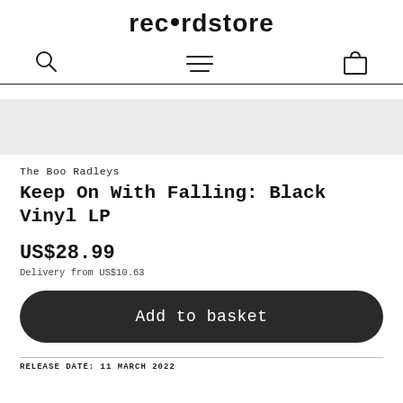rec•rdstore
[Figure (logo): Navigation icons: search (magnifying glass), menu (hamburger lines), basket (shopping bag)]
[Figure (photo): Product image placeholder area (light grey rectangle)]
The Boo Radleys
Keep On With Falling: Black Vinyl LP
US$28.99
Delivery from US$10.63
Add to basket
RELEASE DATE: 11 MARCH 2022